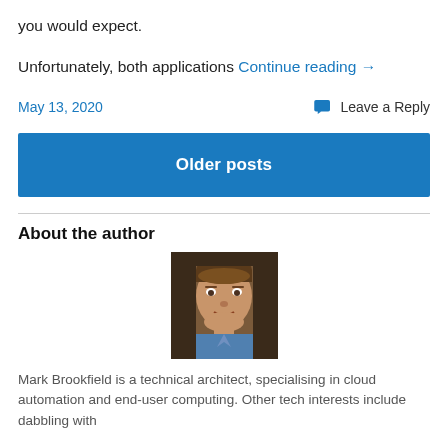you would expect.
Unfortunately, both applications Continue reading →
May 13, 2020
Leave a Reply
Older posts
About the author
[Figure (photo): Headshot photo of Mark Brookfield, a man with short brown hair wearing a blue shirt, smiling slightly.]
Mark Brookfield is a technical architect, specialising in cloud automation and end-user computing. Other tech interests include dabbling with